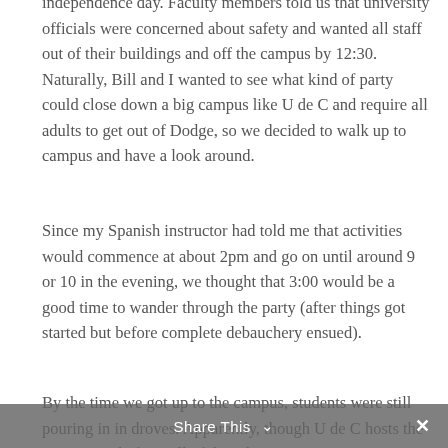independence day. Faculty members told us that university officials were concerned about safety and wanted all staff out of their buildings and off the campus by 12:30. Naturally, Bill and I wanted to see what kind of party could close down a big campus like U de C and require all adults to get out of Dodge, so we decided to walk up to campus and have a look around.
Since my Spanish instructor had told me that activities would commence at about 2pm and go on until around 9 or 10 in the evening, we thought that 3:00 would be a good time to wander through the party (after things got started but before complete debauchery ensued).
By the time we got up to the campus, students were still pouring in in droves. Apparently, though U de C hosts the event, people from all of the other campuses in town. They set up tents to sell beer and
Share This ✕